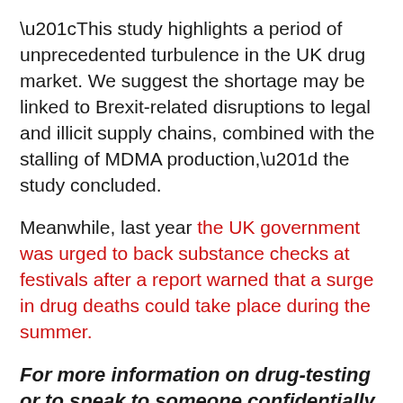“This study highlights a period of unprecedented turbulence in the UK drug market. We suggest the shortage may be linked to Brexit-related disruptions to legal and illicit supply chains, combined with the stalling of MDMA production,” the study concluded.
Meanwhile, last year the UK government was urged to back substance checks at festivals after a report warned that a surge in drug deaths could take place during the summer.
For more information on drug-testing or to speak to someone confidentially about drug use, visit The Loop and FRANK.